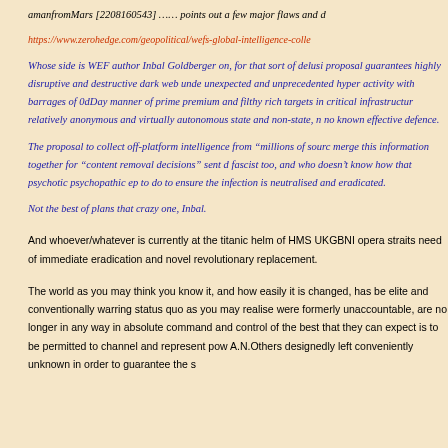amanfromMars [2208160543] …… points out a few major flaws and d
https://www.zerohedge.com/geopolitical/wefs-global-intelligence-colle
Whose side is WEF author Inbal Goldberger on, for that sort of delusi proposal guarantees highly disruptive and destructive dark web unde unexpected and unprecedented hyper activity with barrages of 0dDay manner of prime premium and filthy rich targets in critical infrastructur relatively anonymous and virtually autonomous state and non-state, n no known effective defence.
The proposal to collect off-platform intelligence from "millions of sourc merge this information together for "content removal decisions" sent d fascist too, and who doesn't know how that psychotic psychopathic ep to do to ensure the infection is neutralised and eradicated.
Not the best of plans that crazy one, Inbal.
And whoever/whatever is currently at the titanic helm of HMS UKGBNI opera straits need of immediate eradication and novel revolutionary replacement.
The world as you may think you know it, and how easily it is changed, has be elite and conventionally warring status quo as you may realise were formerly unaccountable, are no longer in any way in absolute command and control of the best that they can expect is to be permitted to channel and represent pow A.N.Others designedly left conveniently unknown in order to guarantee the s